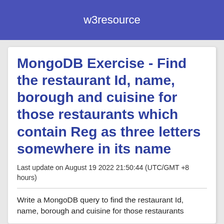w3resource
MongoDB Exercise - Find the restaurant Id, name, borough and cuisine for those restaurants which contain Reg as three letters somewhere in its name
Last update on August 19 2022 21:50:44 (UTC/GMT +8 hours)
Write a MongoDB query to find the restaurant Id, name, borough and cuisine for those restaurants